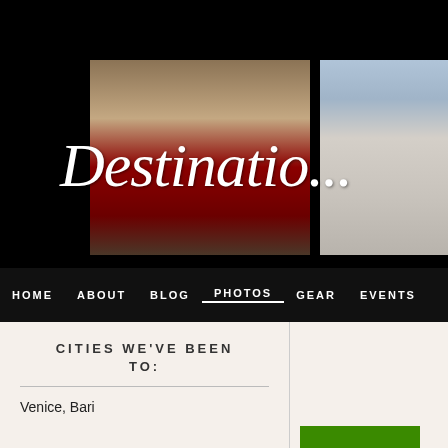[Figure (photo): Travel/destinations banner with two photos: left shows a man in red historical costume standing in a plaza, right shows a classical European building facade. Text 'Destinatio...' overlays in white italic script.]
HOME   ABOUT   BLOG   PHOTOS   GEAR   EVENTS
CITIES WE'VE BEEN TO:
Venice, Bari